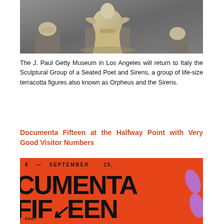[Figure (photo): Photograph of the Sculptural Group of a Seated Poet and Sirens (Orpheus and the Sirens), life-size terracotta figures displayed on pedestals against a grey background at the J. Paul Getty Museum.]
The J. Paul Getty Museum in Los Angeles will return to Italy the Sculptural Group of a Seated Poet and Sirens, a group of life-size terracotta figures also known as Orpheus and the Sirens.
Documenta Fifteen at the Halfway Point with Very Good Visitor Numbers
[Figure (photo): Documenta Fifteen exhibition poster in orange/red background with large black bold text reading 'DOCUMENTA FIFTEEN', date 'SEPTEMBER 25', city 'Kassel', and purple blob shapes on the right side.]